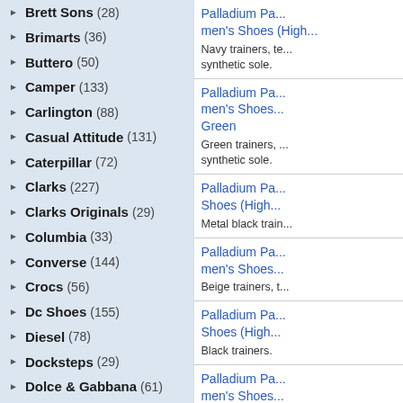Brett Sons (28)
Brimarts (36)
Buttero (50)
Camper (133)
Carlington (88)
Casual Attitude (131)
Caterpillar (72)
Clarks (227)
Clarks Originals (29)
Columbia (33)
Converse (144)
Crocs (56)
Dc Shoes (155)
Diesel (78)
Docksteps (29)
Dolce & Gabbana (61)
Dr. Martens (50)
Dsquared2 (34)
Element (53)
Emerica (38)
Emporio Armani (35)
Emporio Armani Ea7 (39)
Etnies (36)
Faguo (37)
Palladium Pa... men's Shoes (High... Navy trainers, te... synthetic sole.
Palladium Pa... men's Shoes... Green. Green trainers, ... synthetic sole.
Palladium Pa... Shoes (High... Metal black train...
Palladium Pa... men's Shoes... Beige trainers, t...
Palladium Pa... Shoes (High... Black trainers.
Palladium Pa... men's Shoes... Black men's sho... 2.0cm, textile in... rubber sole.
Palladium P...